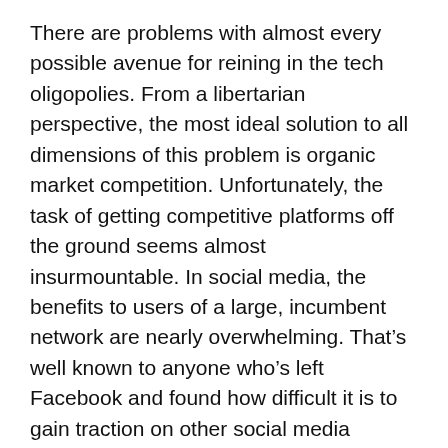There are problems with almost every possible avenue for reining in the tech oligopolies. From a libertarian perspective, the most ideal solution to all dimensions of this problem is organic market competition. Unfortunately, the task of getting competitive platforms off the ground seems almost insurmountable. In social media, the benefits to users of a large, incumbent network are nearly overwhelming. That's well known to anyone who's left Facebook and found how difficult it is to gain traction on other social media platforms. Hardly anyone you know is there!
Google is the dominant search engine by far, and the reasons are not quite as wholesome as the “don’t-be-evil” mantra goes. There are plenty of other search engines, but some are merely shells using Google's engine in the background. Others have managed to carve out a niche.